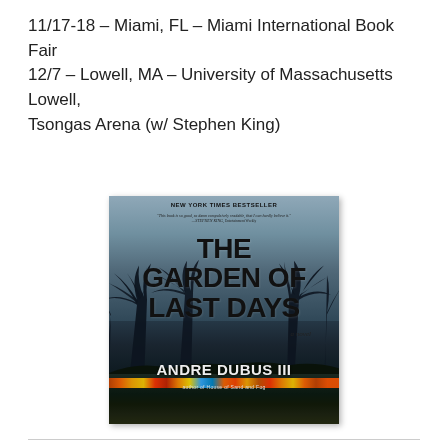11/17-18 – Miami, FL – Miami International Book Fair
12/7 – Lowell, MA – University of Massachusetts Lowell, Tsongas Arena (w/ Stephen King)
[Figure (photo): Book cover of 'The Garden of Last Days' by Andre Dubus III. Labeled 'NEW YORK TIMES BESTSELLER' at top with a Stephen King quote. The cover shows palm tree silhouettes against a stormy sky with nighttime city lights at the bottom. Subtitle 'a novel' appears in the middle-right. Author byline reads 'ANDRE DUBUS III, author of House of Sand and Fog'.]